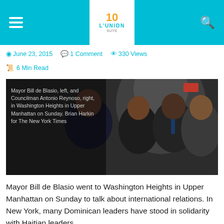L'UNION — Navigation bar with logo
June 23, 2015   1 Comment   330 Views
6 Min Read
[Figure (photo): Mayor Bill de Blasio, left, and Councilman Antonio Reynoso, right, in Washington Heights in Upper Manhattan on Sunday. Brian Harkin for The New York Times]
Mayor Bill de Blasio, left, and Councilman Antonio Reynoso, right, in Washington Heights in Upper Manhattan on Sunday. Brian Harkin for The New York Times
Mayor Bill de Blasio went to Washington Heights in Upper Manhattan on Sunday to talk about international relations. In New York, many Dominican leaders have stood in solidarity with Haitian leaders.